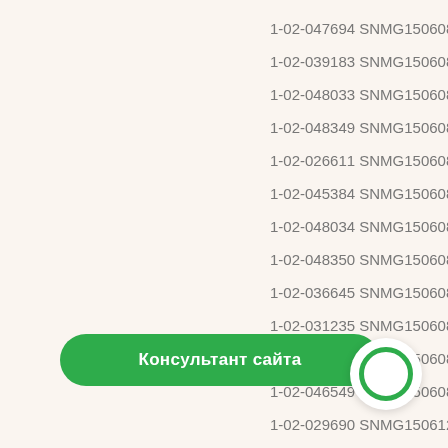1-02-047694 SNMG150608-
1-02-039183 SNMG150608-
1-02-048033 SNMG150608-
1-02-048349 SNMG150608-
1-02-026611 SNMG150608-
1-02-045384 SNMG150608-
1-02-048034 SNMG150608-
1-02-048350 SNMG150608-
1-02-036645 SNMG150608-
1-02-031235 SNMG150608-
1-02-026612 SNMG150608-
1-02-046549 SNMG150608-
...512-
1-02-029690 SNMG150612-